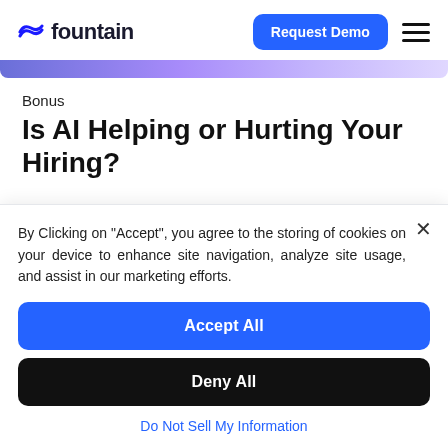fountain | Request Demo
[Figure (other): Gradient decorative bar, blue-purple to lavender]
Bonus
Is AI Helping or Hurting Your Hiring?
By Clicking on "Accept", you agree to the storing of cookies on your device to enhance site navigation, analyze site usage, and assist in our marketing efforts.
Accept All
Deny All
Do Not Sell My Information